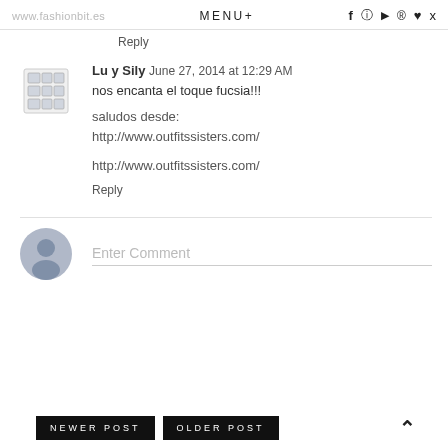www.fashionbit.es  MENU+  f  © [yt] [pinterest] [heart] [twitter]
Reply
Lu y Sily  June 27, 2014 at 12:29 AM
nos encanta el toque fucsia!!!
saludos desde:
http://www.outfitssisters.com/
http://www.outfitssisters.com/
Reply
Enter Comment
NEWER POST  OLDER POST